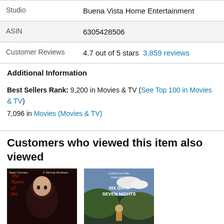|  |  |
| --- | --- |
| Studio | Buena Vista Home Entertainment |
| ASIN | 6305428506 |
| Customer Reviews | 4.7 out of 5 stars  3,859 reviews |
Additional Information
Best Sellers Rank: 9,200 in Movies & TV (See Top 100 in Movies & TV)
7,096 in Movies (Movies & TV)
Customers who viewed this item also viewed
[Figure (photo): Movie cover for The Name of the Rose featuring Sean Connery and F. Murray Abraham]
[Figure (photo): Movie cover for Six Days Seven Nights featuring Harrison Ford]